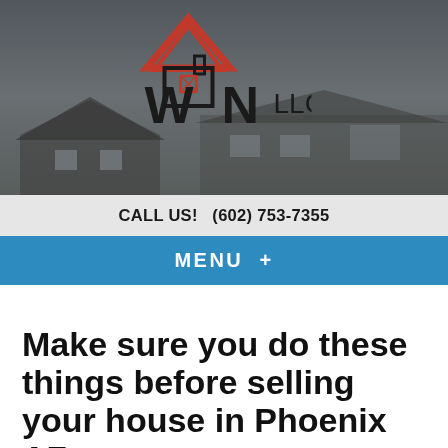[Figure (logo): WIN LLC real estate company logo with house/arrow icon in black and red]
CALL US! (602) 753-7355
MENU +
Make sure you do these things before selling your house in Phoenix AZ
June 21, 2017
By Elijah Rubin